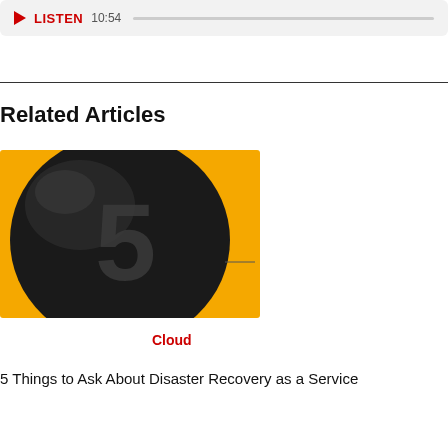LISTEN 10:54
Related Articles
[Figure (illustration): A dark spherical balloon with the number 5 embossed on it, set against a bright yellow background]
Cloud
5 Things to Ask About Disaster Recovery as a Service